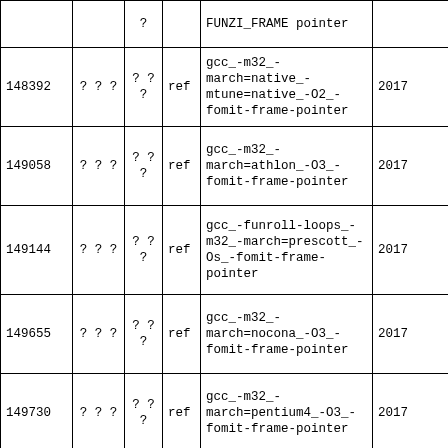|  |  | ? |  | FUNZI_FRAME pointer |  |
| 148392 | ? ? ? | ? ?
? | ref | gcc_-m32_-march=native_-mtune=native_-O2_-fomit-frame-pointer | 2017 |
| 149058 | ? ? ? | ? ?
? | ref | gcc_-m32_-march=athlon_-O3_-fomit-frame-pointer | 2017 |
| 149144 | ? ? ? | ? ?
? | ref | gcc_-funroll-loops_-m32_-march=prescott_-Os_-fomit-frame-pointer | 2017 |
| 149655 | ? ? ? | ? ?
? | ref | gcc_-m32_-march=nocona_-O3_-fomit-frame-pointer | 2017 |
| 149730 | ? ? ? | ? ?
? | ref | gcc_-m32_-march=pentium4_-O3_-fomit-frame-pointer | 2017 |
| 149772 | ? ? ? | ? ?
? | ref | gcc_-m32_-march=pentium-mmx_-Os_-fomit-frame-pointer | 2017 |